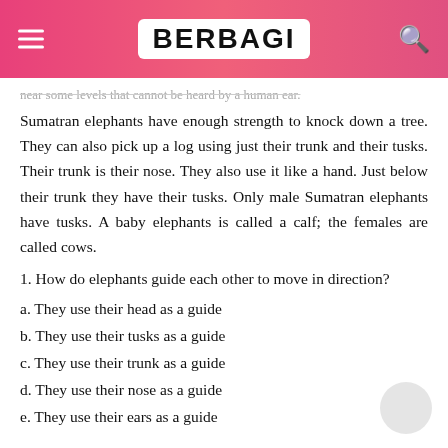BERBAGI
...near some levels that cannot be heard by a human ear.
Sumatran elephants have enough strength to knock down a tree. They can also pick up a log using just their trunk and their tusks. Their trunk is their nose. They also use it like a hand. Just below their trunk they have their tusks. Only male Sumatran elephants have tusks. A baby elephants is called a calf; the females are called cows.
1. How do elephants guide each other to move in direction?
a. They use their head as a guide
b. They use their tusks as a guide
c. They use their trunk as a guide
d. They use their nose as a guide
e. They use their ears as a guide